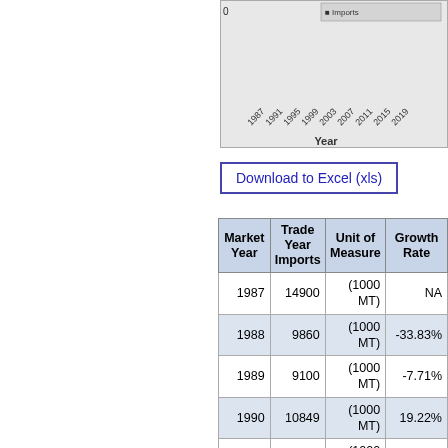[Figure (other): Partial view of a line/bar chart showing year axis from 1987 to 2019 with 'Year' label at bottom]
Download to Excel (xls)
| Market Year | Trade Year Imports | Unit of Measure | Growth Rate |
| --- | --- | --- | --- |
| 1987 | 14900 | (1000 MT) | NA |
| 1988 | 9860 | (1000 MT) | -33.83% |
| 1989 | 9100 | (1000 MT) | -7.71% |
| 1990 | 10849 | (1000 MT) | 19.22% |
| 1991 | 13645 | (1000 MT) | 25.77% |
| 1992 | 14470 | (1000 MT) | 6.05% |
| 1993 | 5000 | (1000 MT) | -65.45% |
| 1994 | 3167 | (1000 MT) | -56.66% |